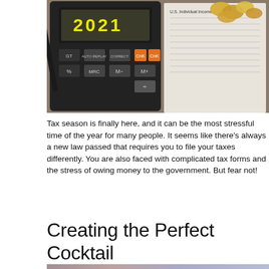[Figure (photo): A calculator displaying '2021' on its screen, placed next to a tax form (U.S. Individual Income Tax Return) and gold/silver coins, suggesting tax season 2021.]
Tax season is finally here, and it can be the most stressful time of the year for many people. It seems like there's always a new law passed that requires you to file your taxes differently. You are also faced with complicated tax forms and the stress of owing money to the government. But fear not!
Creating the Perfect Cocktail
[Figure (photo): Blurred colorful background image, partially visible at the bottom of the page.]